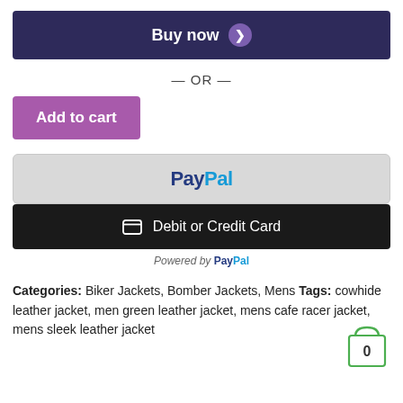[Figure (screenshot): Buy now button - dark navy background with white bold text and purple arrow circle chevron]
— OR —
[Figure (screenshot): Add to cart button - purple/mauve background with white bold text]
[Figure (screenshot): PayPal payment button - light grey background with PayPal logo in blue]
[Figure (screenshot): Debit or Credit Card button - black background with card icon and white text]
Powered by PayPal
Categories: Biker Jackets, Bomber Jackets, Mens Tags: cowhide leather jacket, men green leather jacket, mens cafe racer jacket, mens sleek leather jacket